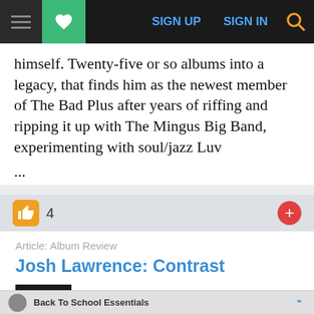SIGN UP  SIGN IN
himself. Twenty-five or so albums into a legacy, that finds him as the newest member of The Bad Plus after years of riffing and ripping it up with The Mingus Big Band, experimenting with soul/jazz Luv ...
4
Article: Album Review
Josh Lawrence: Contrast
by Thad Aerts
Back To School Essentials